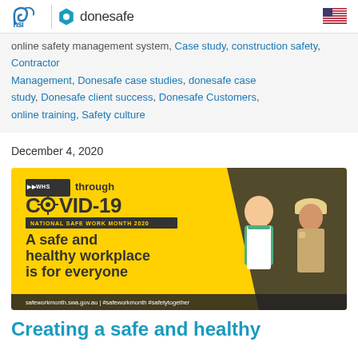hsi | donesafe
online safety management system, Case study, construction safety, Contractor Management, Donesafe case studies, donesafe case study, Donesafe client success, Donesafe Customers, online training, Safety culture
December 4, 2020
[Figure (illustration): Yellow background banner with text 'WHS through COVID-19 National Safe Work Month 2020' and 'A safe and healthy workplace is for everyone' with illustrated characters of a worker in apron and a person in hard hat and safety gear. Bottom text: safeworkmonth.swa.gov.au | #safeworkmonth #safetytogether]
Creating a safe and healthy